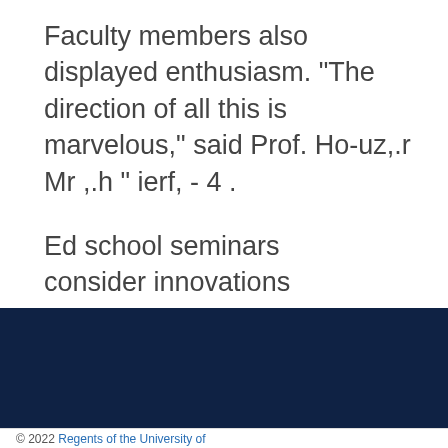Faculty members also displayed enthusiasm. "The direction of all this is marvelous," said Prof. Houz,.r Mr ,.h " ierf, - 4 .
Ed school seminars consider innovations
Help
Home
© 2022 Regents of the University of